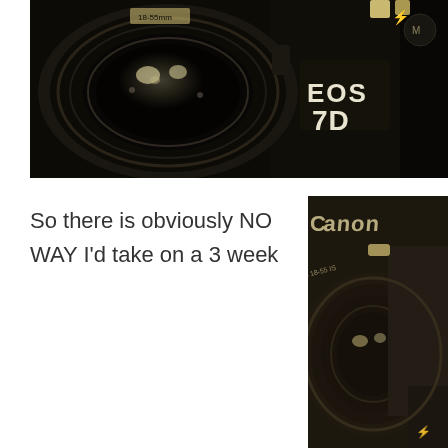[Figure (photo): Close-up sepia-toned photo of a Canon EOS 7D DSLR camera showing the lens and body with 'EOS 7D' text visible on the camera body]
So there is obviously NO WAY I'd take on a 3 week
[Figure (photo): Close-up sepia-toned photo of a Canon DSLR camera showing the lens and 'Canon' text on the camera body]